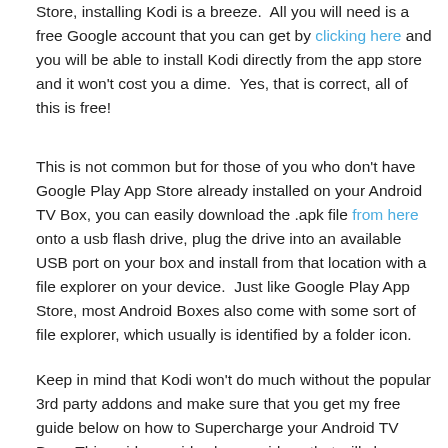Store, installing Kodi is a breeze.  All you will need is a free Google account that you can get by clicking here and you will be able to install Kodi directly from the app store and it won't cost you a dime.  Yes, that is correct, all of this is free!
This is not common but for those of you who don't have Google Play App Store already installed on your Android TV Box, you can easily download the .apk file from here onto a usb flash drive, plug the drive into an available USB port on your box and install from that location with a file explorer on your device.  Just like Google Play App Store, most Android Boxes also come with some sort of file explorer, which usually is identified by a folder icon.
Keep in mind that Kodi won't do much without the popular 3rd party addons and make sure that you get my free guide below on how to Supercharge your Android TV Box.  This guide provides bonus videos that will show you how to install the